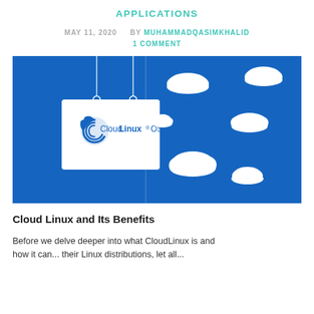APPLICATIONS
MAY 11, 2020   BY MUHAMMADQASIMKHALID
1 COMMENT
[Figure (illustration): CloudLinux OS banner image with blue background and white cloud shapes. A sign hangs in the left half displaying the CloudLinux OS logo with swirl icon.]
Cloud Linux and Its Benefits
Before we delve deeper into what CloudLinux is and how it can... their Linux distributions, let all...